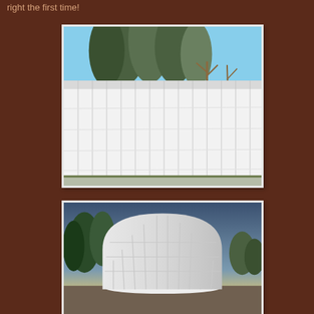right the first time!
[Figure (photo): Side view of a large greenhouse or hoop structure covered in white plastic sheeting/tarp, with trees visible in the background against a blue sky. The structure is long with multiple panels along the side.]
[Figure (photo): End/front view of a smaller greenhouse or hoop structure covered in white plastic sheeting, showing the arched roof profile. Trees visible on the left, sunset sky in background, snow on the ground.]